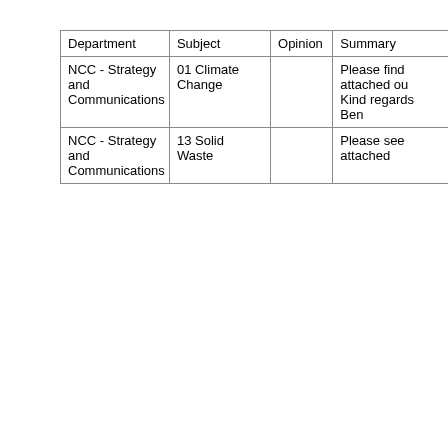| Department | Subject | Opinion | Summary |
| --- | --- | --- | --- |
| NCC - Strategy and Communications | 01 Climate Change |  | Please find attached ou
Kind regards
Ben |
| NCC - Strategy and Communications | 13 Solid Waste |  | Please see attached |